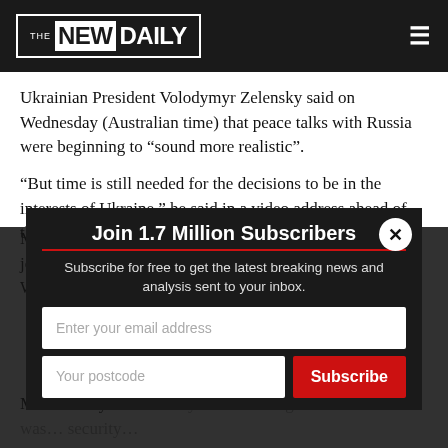THE NEW DAILY
Ukrainian President Volodymyr Zelensky said on Wednesday (Australian time) that peace talks with Russia were beginning to “sound more realistic”.
“But time is still needed for the decisions to be in the interests of Ukraine,” he said in a video address ahead of the next round of talks.
Mr Zelensky has also conceded Ukraine is unlikely ever to join NATO – the country’s formal membership of the key Western security alliance was one of Russian President… invasion.
Join 1.7 Million Subscribers
Subscribe for free to get the latest breaking news and analysis sent to your inbox.
Enter your email address
Your postcode
Subscribe
Mr Zelensky told B… ary Force oversight that Ukraine was… security…